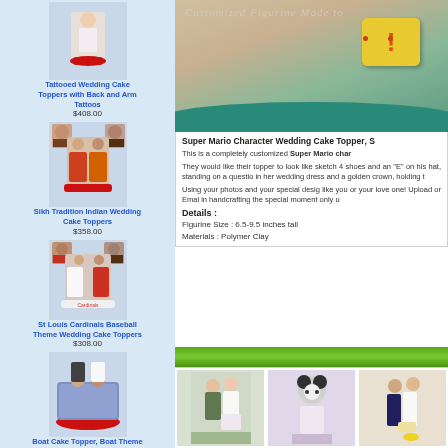[Figure (photo): Tattooed wedding cake topper figurine photo]
Tattooed Wedding Cake Toppers with Back and Arm Tattoos
$408.00
[Figure (photo): Sikh Tradition Indian Wedding Cake Topper figurine photo]
Sikh Tradition Indian Wedding Cake Toppers
$358.00
[Figure (photo): St Louis Cardinals Baseball Theme Wedding Cake Topper figurine photo]
St Louis Cardinals Baseball Theme Wedding Cake Toppers
$308.00
[Figure (photo): Boat Cake Topper figurine photo]
Boat Cake Topper, Boat Theme Wedding Cake Topper
$308.00
[Figure (photo): Super Mario Character Wedding Cake Topper product photo with yellow question block and teal base]
Customized Figurine Made to
Super Mario Character Wedding Cake Topper, S
This is a completely customized Super Mario char
They would like their topper to look like sketch 4 shoes and an "E" on his hat, standing on a question in her wedding dress and a golden crown, holding t
Using your photos and your special desig like you or your love one! Upload or Emai in handcrafting the special moment only u
Details :
Figurine Size : 6.5-9.5 inches tall
Materials : Polymer Clay
[Figure (photo): Green gradient strip at bottom]
[Figure (photo): Three thumbnail product images of wedding cake toppers at bottom]